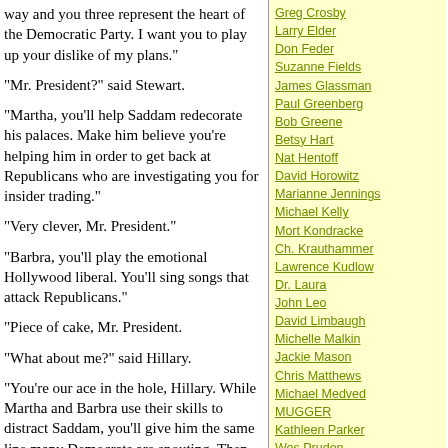way and you three represent the heart of the Democratic Party. I want you to play up your dislike of my plans."
"Mr. President?" said Stewart.
"Martha, you'll help Saddam redecorate his palaces. Make him believe you're helping him in order to get back at Republicans who are investigating you for insider trading."
"Very clever, Mr. President."
"Barbra, you'll play the emotional Hollywood liberal. You'll sing songs that attack Republicans."
"Piece of cake, Mr. President.
"What about me?" said Hillary.
"You're our ace in the hole, Hillary. While Martha and Barbra use their skills to distract Saddam, you'll give him the same line many Democrats are spouting. Then we want you to do to him what you have long wanted to do to
Greg Crosby
Larry Elder
Don Feder
Suzanne Fields
James Glassman
Paul Greenberg
Bob Greene
Betsy Hart
Nat Hentoff
David Horowitz
Marianne Jennings
Michael Kelly
Mort Kondracke
Ch. Krauthammer
Lawrence Kudlow
Dr. Laura
John Leo
David Limbaugh
Michelle Malkin
Jackie Mason
Chris Matthews
Michael Medved
MUGGER
Kathleen Parker
Wes Pruden
Sam Schulman
Amity Shlaes
Roger Simon
Tony Snow
Thomas Sowell
Cal Thomas
Jonathan S. Tobin
Ben Wattenberg
George Will
Bruce Williams
Walter Williams
Mort Zuckerman
Consumer Reports